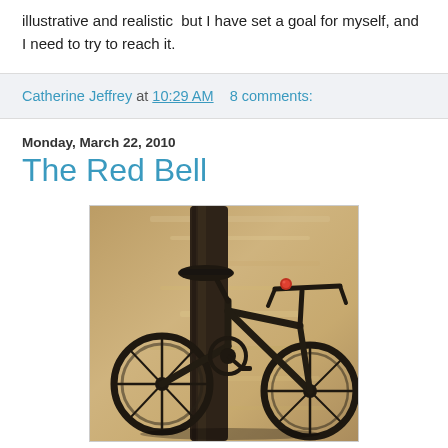illustrative and realistic  but I have set a goal for myself, and I need to try to reach it.
Catherine Jeffrey at 10:29 AM   8 comments:
Monday, March 22, 2010
The Red Bell
[Figure (illustration): Oil painting of a dark bicycle leaning against a tree trunk or pole, with a warm brown/tan background wall. A small red bell is visible on the handlebars.]